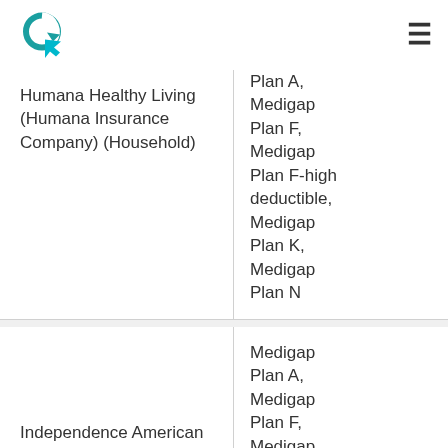Logo and navigation menu
| Company | Plans |
| --- | --- |
| Humana Healthy Living (Humana Insurance Company) (Household) | Plan A, Medigap Plan F, Medigap Plan F-high deductible, Medigap Plan K, Medigap Plan N |
| Independence American Insurance Company | Medigap Plan A, Medigap Plan F, Medigap Plan G, |